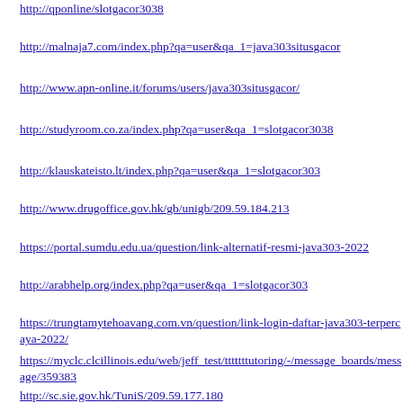http://qponline/slotgacor3038
http://malnaja7.com/index.php?qa=user&qa_1=java303situsgacor
http://www.apn-online.it/forums/users/java303situsgacor/
http://studyroom.co.za/index.php?qa=user&qa_1=slotgacor3038
http://klauskateisto.lt/index.php?qa=user&qa_1=slotgacor303
http://www.drugoffice.gov.hk/gb/unigb/209.59.184.213
https://portal.sumdu.edu.ua/question/link-alternatif-resmi-java303-2022
http://arabhelp.org/index.php?qa=user&qa_1=slotgacor303
https://trungtamytehoavang.com.vn/question/link-login-daftar-java303-terpercaya-2022/
https://myclc.clcillinois.edu/web/jeff_test/tttttttutoring/-/message_boards/message/359383...
http://sc.sie.gov.hk/TuniS/209.59.177.180